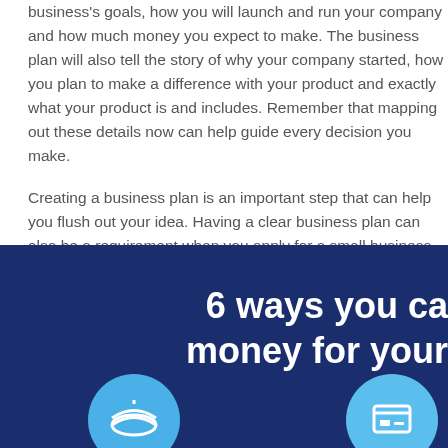business's goals, how you will launch and run your company and how much money you expect to make. The business plan will also tell the story of why your company started, how you plan to make a difference with your product and exactly what your product is and includes. Remember that mapping out these details now can help guide every decision you make.
Creating a business plan is an important step that can help you flush out your idea. Having a clear business plan can also be a requirement when you apply for a small business loan or line of credit.
[Figure (infographic): Dark navy blue infographic panel with bold white text reading '6 ways you ca... money for your...' (partially visible, cut off on right). Two circular icons at the bottom — a light blue circle on the left with a wave/finance icon, and another light blue circle on the right with a document/card icon.]